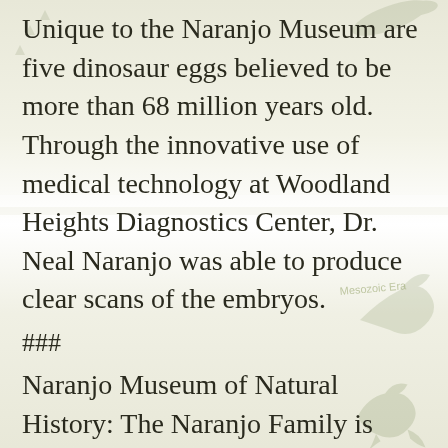Unique to the Naranjo Museum are five dinosaur eggs believed to be more than 68 million years old. Through the innovative use of medical technology at Woodland Heights Diagnostics Center, Dr. Neal Naranjo was able to produce clear scans of the embryos.
###
Naranjo Museum of Natural History: The Naranjo Family is pleased to share their passion for pre-history, ancient history and Texas history. Dr. Jennings Neal Naranjo, Ph.D. has had a life long passion for paleontology. Thanks to the support and encouragement of his wife, Dr. Naranjo will build and donate his museum collection of fossils to the Naranjo